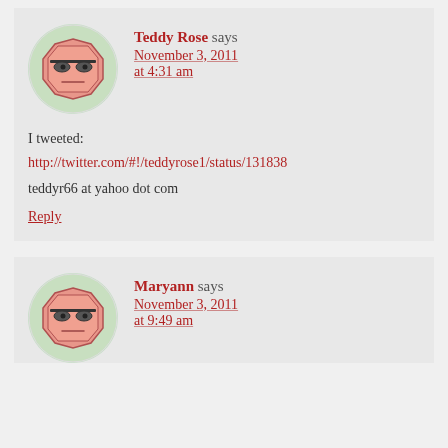[Figure (illustration): Avatar icon: cartoon octagon face with glasses and neutral expression, salmon/pink color on green circular background]
Teddy Rose says
November 3, 2011
at 4:31 am
I tweeted:
http://twitter.com/#!/teddyrose1/status/131838
teddyr66 at yahoo dot com
Reply
[Figure (illustration): Avatar icon: cartoon octagon face with glasses, partially visible, salmon/pink color on green circular background]
Maryann says
November 3, 2011
at 9:49 am